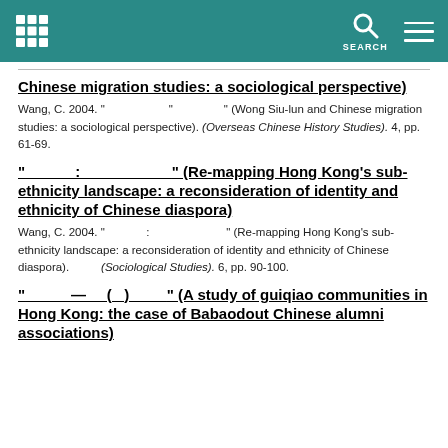SEARCH
Chinese migration studies: a sociological perspective)
Wang, C. 2004. "                    " (Wong Siu-lun and Chinese migration studies: a sociological perspective). (Overseas Chinese History Studies). 4, pp. 61-69.
"            :                        " (Re-mapping Hong Kong's sub-ethnicity landscape: a reconsideration of identity and ethnicity of Chinese diaspora)
Wang, C. 2004. "            :                        " (Re-mapping Hong Kong's sub-ethnicity landscape: a reconsideration of identity and ethnicity of Chinese diaspora). (Sociological Studies). 6, pp. 90-100.
"         —    (   )         " (A study of guiqiao communities in Hong Kong: the case of Babaodout Chinese alumni associations)